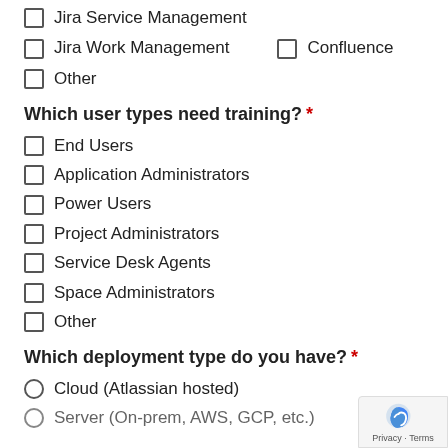Jira Service Management
Jira Work Management
Confluence
Other
Which user types need training? *
End Users
Application Administrators
Power Users
Project Administrators
Service Desk Agents
Space Administrators
Other
Which deployment type do you have? *
Cloud (Atlassian hosted)
Server (On-prem, AWS, GCP, etc.)